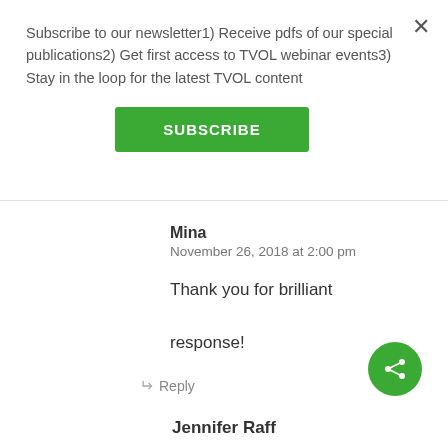Subscribe to our newsletter1) Receive pdfs of our special publications2) Get first access to TVOL webinar events3) Stay in the loop for the latest TVOL content
SUBSCRIBE
Mina
November 26, 2018 at 2:00 pm
Thank you for brilliant response!
Reply
[Figure (illustration): Green circular share button with share icon]
Jennifer Raff